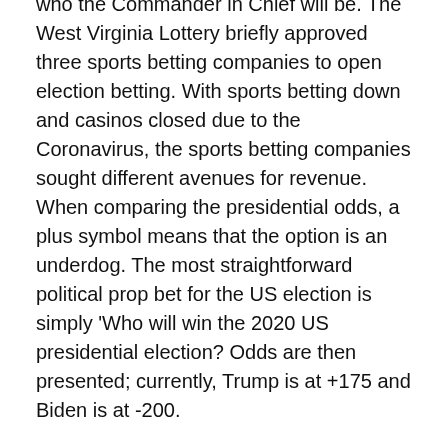who the Commander in Chief will be. The West Virginia Lottery briefly approved three sports betting companies to open election betting. With sports betting down and casinos closed due to the Coronavirus, the sports betting companies sought different avenues for revenue. When comparing the presidential odds, a plus symbol means that the option is an underdog. The most straightforward political prop bet for the US election is simply 'Who will win the 2020 US presidential election? Odds are then presented; currently, Trump is at +175 and Biden is at -200.
Donald Trump Dismisses Ron Desantis Presidential Chances Image Via Ap
Due to vacancies and party-switching that arose during the 116th Congress, immediately before the November 2020 elections Democrats held 232 seats, compared to